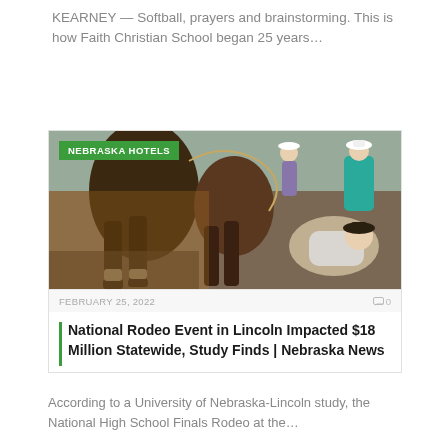KEARNEY — Softball, prayers and brainstorming. This is how Faith Christian School began 25 years…
[Figure (photo): A rodeo scene showing a horse and a fallen rider at a rodeo event, with a crowd in the background. A green badge reads 'NEBRASKA HOTELS'.]
FEBRUARY 25, 2022
0
National Rodeo Event in Lincoln Impacted $18 Million Statewide, Study Finds | Nebraska News
According to a University of Nebraska-Lincoln study, the National High School Finals Rodeo at the…